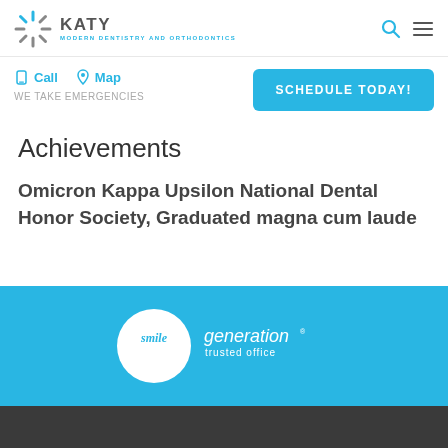KATY MODERN DENTISTRY AND ORTHODONTICS
Call  Map  WE TAKE EMERGENCIES  SCHEDULE TODAY!
Achievements
Omicron Kappa Upsilon National Dental Honor Society, Graduated magna cum laude
[Figure (logo): Smile Generation trusted office logo — white circle with 'smile' in italic blue text, next to 'generation' and 'trusted office' in white text on a blue background]